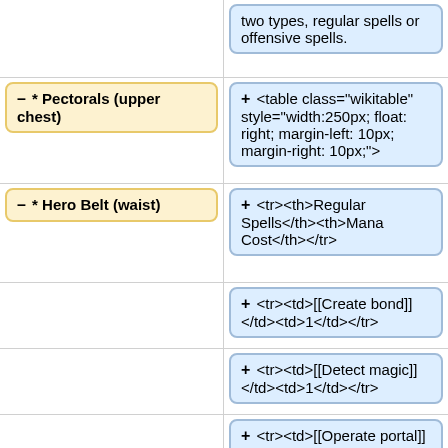two types, regular spells or offensive spells.
– * Pectorals (upper chest)
+ <table class="wikitable" style="width:250px; float: right; margin-left: 10px; margin-right: 10px;">
– * Hero Belt (waist)
+ <tr><th>Regular Spells</th><th>Mana Cost</th></tr>
+ <tr><td>[[Create bond]]</td><td>1</td></tr>
+ <tr><td>[[Detect magic]]</td><td>1</td></tr>
+ <tr><td>[[Operate portal]]</td><td>1</td></tr>
+ <tr><td>[[Heal]]</td>